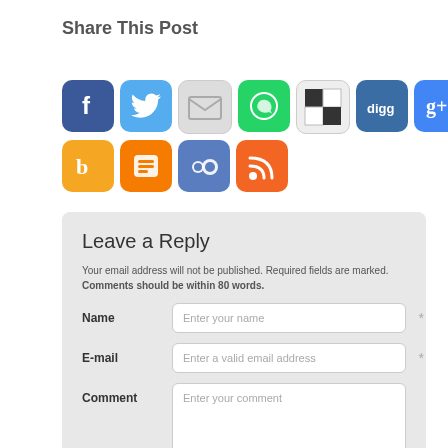Share This Post
[Figure (infographic): Row of social media sharing icons: Facebook, Twitter, Email, WhatsApp, Shareaholic, Digg, Google+, StumbleUpon, Reddit, iOS Messages (row 1); Bebo, Blogger, MySpace, RSS (row 2)]
Leave a Reply
Your email address will not be published. Required fields are marked. Comments should be within 80 words.
Name - Enter your name (required)
E-mail - Enter a valid email address (required)
Comment - Enter your comment